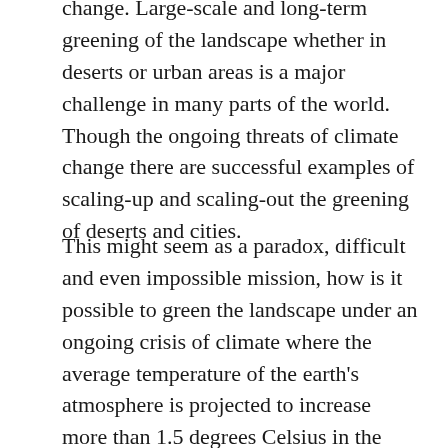change. Large-scale and long-term greening of the landscape whether in deserts or urban areas is a major challenge in many parts of the world. Though the ongoing threats of climate change there are successful examples of scaling-up and scaling-out the greening of deserts and cities.
This might seem as a paradox, difficult and even impossible mission, how is it possible to green the landscape under an ongoing crisis of climate where the average temperature of the earth's atmosphere is projected to increase more than 1.5 degrees Celsius in the near future. But it isn't at all a paradox as such a scenario depends on the first hand on how to get the water to remain in the top surface layer of soils at the earth's surface, i.e. to let the water to residence there for relatively longer time being bound in soil matrices and